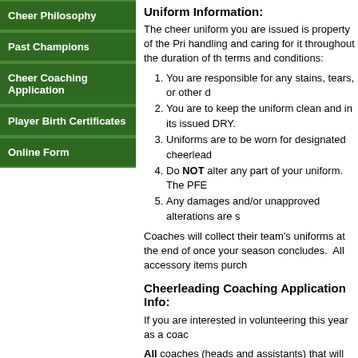Cheer Philosophy
Past Champions
Cheer Coaching Application
Player Birth Certificates
Online Form
Uniform Information:
The cheer uniform you are issued is property of the Pri handling and caring for it throughout the duration of th terms and conditions:
You are responsible for any stains, tears, or other d
You are to keep the uniform clean and in its issued DRY.
Uniforms are to be worn for designated cheerlead
Do NOT alter any part of your uniform. The PFE
Any damages and/or unapproved alterations are s
Coaches will collect their team's uniforms at the end of once your season concludes.  All accessory items purch
Cheerleading Coaching Application Info:
If you are interested in volunteering this year as a coac
All coaches (heads and assistants) that will be on the "o coaching certification through USA Cheer using this Li
Coaches who have completed the certification process have not completed the certification please log on to w